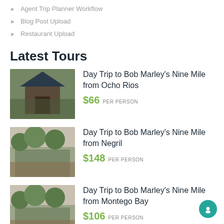Agent Trip Planner Workflow
Blog Post Upload
Restaurant Upload
Latest Tours
[Figure (photo): Stone building exterior, Bob Marley Nine Mile site, Ocho Rios]
Day Trip to Bob Marley's Nine Mile from Ocho Rios
$66 PER PERSON
[Figure (photo): Colorful garden scene, Bob Marley Nine Mile site, Negril]
Day Trip to Bob Marley's Nine Mile from Negril
$148 PER PERSON
[Figure (photo): Colorful garden scene, Bob Marley Nine Mile site, Montego Bay]
Day Trip to Bob Marley's Nine Mile from Montego Bay
$106 PER PERSON